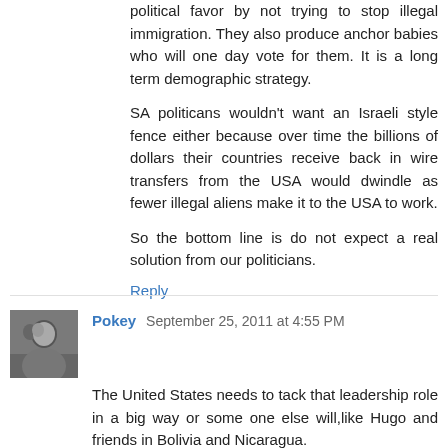political favor by not trying to stop illegal immigration. They also produce anchor babies who will one day vote for them. It is a long term demographic strategy.
SA politicans wouldn't want an Israeli style fence either because over time the billions of dollars their countries receive back in wire transfers from the USA would dwindle as fewer illegal aliens make it to the USA to work.
So the bottom line is do not expect a real solution from our politicians.
Reply
Pokey  September 25, 2011 at 4:55 PM
The United States needs to tack that leadership role in a big way or some one else will,like Hugo and friends in Bolivia and Nicaragua.
And lets not forget Hugo as friends in Iran and Russia, I'm sure they will be happy to help him out.
Reply